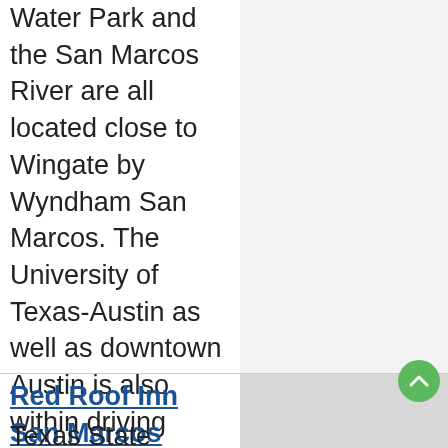Water Park and the San Marcos River are all located close to Wingate by Wyndham San Marcos. The University of Texas-Austin as well as downtown Austin is also within driving distance of the property.
Red Roof Inn San Marcos
Texas State University is 1.6